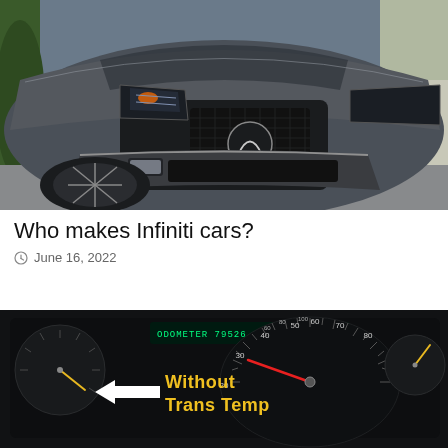[Figure (photo): Close-up front view of a dark gray/silver Infiniti SUV showing the distinctive Infiniti grille logo, headlights, and front bumper, parked outdoors.]
Who makes Infiniti cars?
June 16, 2022
[Figure (photo): Dark vehicle dashboard/instrument cluster showing odometer reading and speedometer dials. An arrow points to an area labeled 'Without Trans Temp' in bold yellow and white text.]